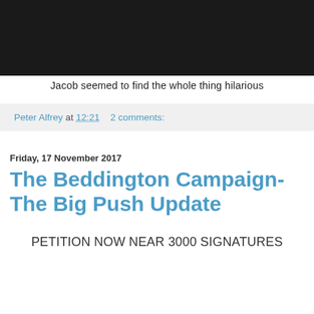[Figure (photo): Black bar at top of page, appears to be the bottom of an image cropped from above]
Jacob seemed to find the whole thing hilarious
Peter Alfrey at 12:21    2 comments:
Friday, 17 November 2017
The Beddington Campaign- The Big Push Update
PETITION NOW NEAR 3000 SIGNATURES